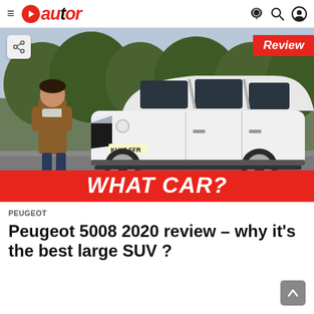AUTOR
[Figure (photo): A woman in a brown coat stands next to a white Peugeot 5008 SUV on a driveway. A 'Review' badge appears top right and 'WHAT CAR?' banner appears at the bottom in red.]
PEUGEOT
Peugeot 5008 2020 review – why it's the best large SUV ?